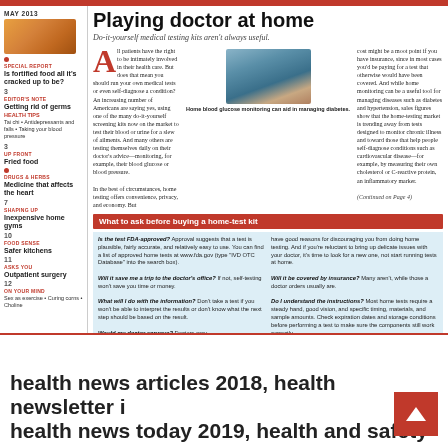MAY 2013
[Figure (photo): Image of oranges/fruits]
SPECIAL REPORT
Is fortified food all it's cracked up to be?
3
EDITOR'S NOTE
Getting rid of germs
HEALTH TIPS
Tai chi • Antidepressants and falls • Taking your blood pressure
3
UP FRONT
Fried food
DRUGS & HERBS
Medicine that affects the heart
7
SHAPING UP
Inexpensive home gyms
10
FOOD SENSE
Safer kitchens
11
ASKS YOU
Outpatient surgery
12
ON YOUR MIND
Sex as exercise • Curing corns • Choline
Playing doctor at home
Do-it-yourself medical testing kits aren't always useful.
All patients have the right to be intimately involved in their health care. But does that mean you should run your own medical tests or even self-diagnose a condition? An increasing number of Americans are saying yes, using one of the many do-it-yourself screening kits now on the market to test their blood or urine for a slew of ailments. And many others are testing themselves daily on their doctor's advice—monitoring, for example, their blood glucose or blood pressure. In the best of circumstances, home testing offers convenience, privacy, and economy. But
[Figure (photo): Close-up photo of home blood glucose monitoring device]
Home blood glucose monitoring can aid in managing diabetes.
cost might be a moot point if you have insurance, since in most cases you'd be paying for a test that otherwise would have been covered. And while home monitoring can be a useful tool for managing diseases such as diabetes and hypertension, sales figures show that the home-testing market is trending away from tests designed to monitor chronic illness and toward those that help people self-diagnose conditions such as cardiovascular disease—for example, by measuring their own cholesterol or C-reactive protein, an inflammatory marker. (Continued on Page 4)
What to ask before buying a home-test kit
| Is the test FDA-approved? Approval suggests that a test is plausible, fairly accurate, and relatively easy to use. You can find a list of approved home tests at www.fda.gov (type "IVD OTC Database" into the search box). Will it save me a trip to the doctor's office? If not, self-testing won't save you time or money. What will I do with the information? Don't take a test if you won't be able to interpret the results or don't know what the next step should be based on the result. Would my doctor approve? Doctors may | have good reasons for discouraging you from doing home testing. And if you're reluctant to bring up delicate issues with your doctor, it's time to look for a new one, not start running tests at home. Will it be covered by insurance? Many aren't, while those a doctor orders usually are. Do I understand the instructions? Most home tests require a steady hand, good vision, and specific timing, materials, and sample amounts. Check expiration dates and storage conditions before performing a test to make sure the components still work correctly. |
health news articles 2018, health newsletter i
health news today 2019, health and safety